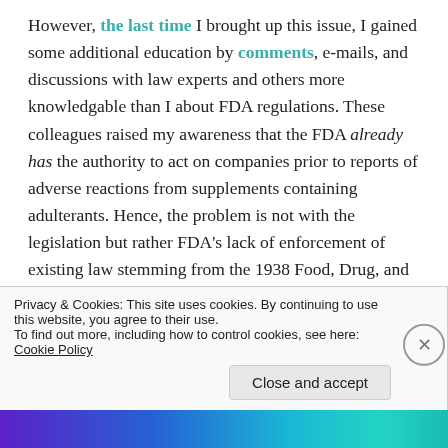However, the last time I brought up this issue, I gained some additional education by comments, e-mails, and discussions with law experts and others more knowledgable than I about FDA regulations. These colleagues raised my awareness that the FDA already has the authority to act on companies prior to reports of adverse reactions from supplements containing adulterants. Hence, the problem is not with the legislation but rather FDA's lack of enforcement of existing law stemming from the 1938 Food, Drug, and Cosmetic Act. One comment came from food and drug law...
Privacy & Cookies: This site uses cookies. By continuing to use this website, you agree to their use.
To find out more, including how to control cookies, see here: Cookie Policy
Close and accept